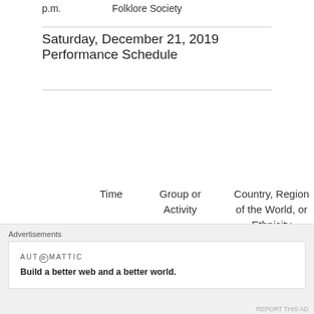p.m.      Folklore Society
Saturday, December 21, 2019 Performance Schedule
| Time | Group or Activity | Country, Region of the World, or Ethnicity Represented |
| --- | --- | --- |
| 11:00 a.m. to 3:00 p.m. | Ornament Making |  |
Advertisements
AUTOMATTIC
Build a better web and a better world.